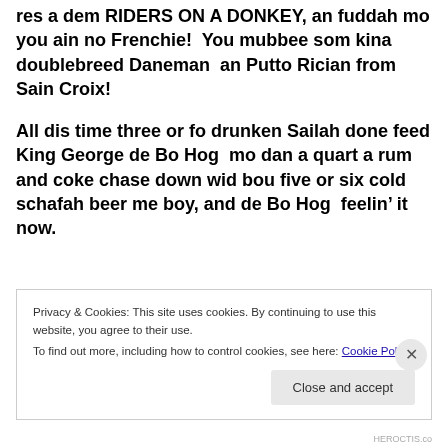res a dem RIDERS ON A DONKEY, an fuddah mo you ain no Frenchie!  You mubbee som kina doublebreed Daneman  an Putto Rician from Sain Croix!
All dis time three or fo drunken Sailah done feed King George de Bo Hog  mo dan a quart a rum and coke chase down wid bou five or six cold schafah beer me boy, and de Bo Hog  feelin’ it now.
Privacy & Cookies: This site uses cookies. By continuing to use this website, you agree to their use.
To find out more, including how to control cookies, see here: Cookie Policy